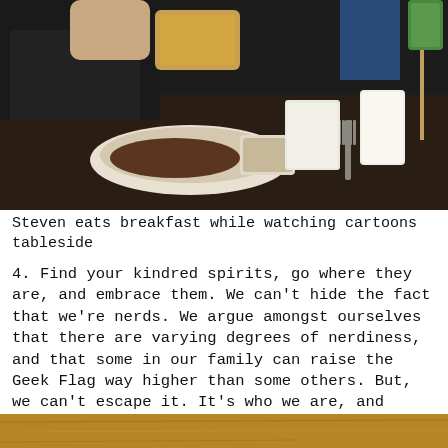[Figure (photo): Person eating breakfast at a table with food on plates, watching something tableside. Dark background, restaurant setting.]
Steven eats breakfast while watching cartoons tableside
4. Find your kindred spirits, go where they are, and embrace them. We can't hide the fact that we're nerds. We argue amongst ourselves that there are varying degrees of nerdiness, and that some in our family can raise the Geek Flag way higher than some others. But, we can't escape it. It's who we are, and we're proud. So imagine finding out that Greensboro is actually quite the center for Geek Culture. We found a fun coffee house where "our people" hang:
[Figure (photo): Bottom portion of a photo showing a wooden table surface, partially cropped.]